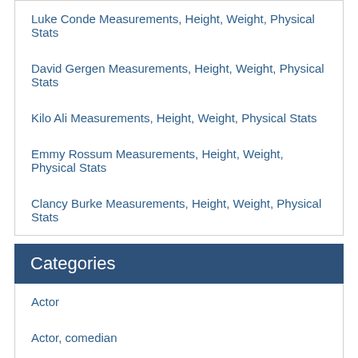Luke Conde Measurements, Height, Weight, Physical Stats
David Gergen Measurements, Height, Weight, Physical Stats
Kilo Ali Measurements, Height, Weight, Physical Stats
Emmy Rossum Measurements, Height, Weight, Physical Stats
Clancy Burke Measurements, Height, Weight, Physical Stats
Categories
Actor
Actor, comedian
Actor, Model
Actor, Producer
Actress
Actress, Model
Artist
Athlete